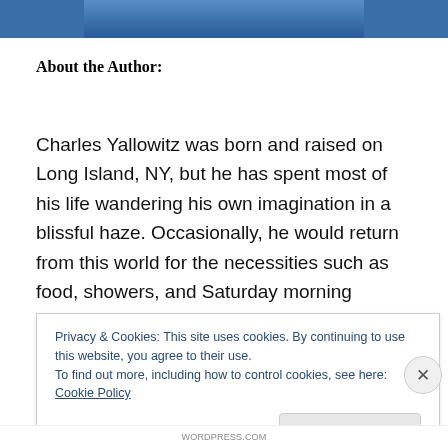[Figure (photo): Partial photo of a person wearing a blue outfit, cropped at the top of the page]
About the Author:
Charles Yallowitz was born and raised on Long Island, NY, but he has spent most of his life wandering his own imagination in a blissful haze. Occasionally, he would return from this world for the necessities such as food, showers, and Saturday morning cartoons. One day he returned from his imagination and decided he would share
Privacy & Cookies: This site uses cookies. By continuing to use this website, you agree to their use.
To find out more, including how to control cookies, see here: Cookie Policy
Close and accept